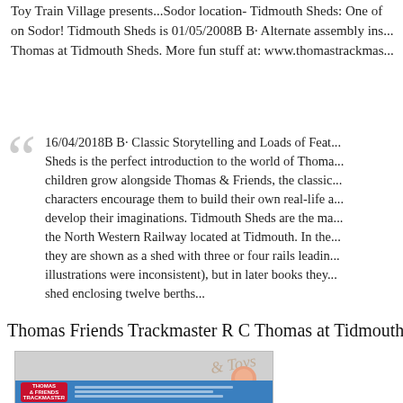Toy Train Village presents...Sodor location- Tidmouth Sheds: One of the most iconic locations on Sodor! Tidmouth Sheds is 01/05/2008B B· Alternate assembly instructions for Thomas at Tidmouth Sheds. More fun stuff at: www.thomastrackmas...
16/04/2018B B· Classic Storytelling and Loads of Features, Tidmouth Sheds is the perfect introduction to the world of Thomas. As children grow alongside Thomas & Friends, the classic characters encourage them to build their own real-life adventures and develop their imaginations. Tidmouth Sheds are the main sheds of the North Western Railway located at Tidmouth. In the early books, they are shown as a shed with three or four rails leading into it (as the illustrations were inconsistent), but in later books they are shown as a shed enclosing twelve berths...
Thomas Friends Trackmaster R C Thomas at Tidmouth...
[Figure (photo): Photo of Thomas & Friends Trackmaster product packaging showing a blue box with Thomas logo, text description panels, and a child on the right side. Background is grey with an angled 'Trains & Toys' watermark text overlay.]